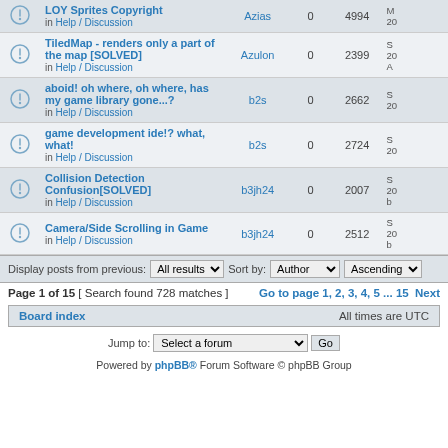|  | Topic | Author | Replies | Views | Last post |
| --- | --- | --- | --- | --- | --- |
|  | LOY Sprites Copyright
in Help / Discussion | Azias | 0 | 4994 | M 20... |
|  | TiledMap - renders only a part of the map [SOLVED]
in Help / Discussion | Azulon | 0 | 2399 | S 20... A |
|  | aboid! oh where, oh where, has my game library gone...?
in Help / Discussion | b2s | 0 | 2662 | S 20... |
|  | game development ide!? what, what!
in Help / Discussion | b2s | 0 | 2724 | S 20... |
|  | Collision Detection Confusion[SOLVED]
in Help / Discussion | b3jh24 | 0 | 2007 | S 20... b |
|  | Camera/Side Scrolling in Game
in Help / Discussion | b3jh24 | 0 | 2512 | S 20... b |
Display posts from previous: All results  Sort by: Author  Ascending
Page 1 of 15 [ Search found 728 matches ]  Go to page 1, 2, 3, 4, 5 ... 15  Next
Board index  All times are UTC
Jump to: Select a forum  Go
Powered by phpBB® Forum Software © phpBB Group